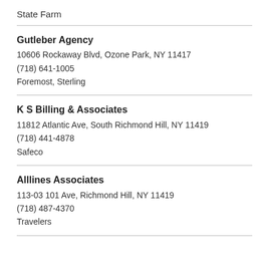State Farm
Gutleber Agency
10606 Rockaway Blvd, Ozone Park, NY 11417
(718) 641-1005
Foremost, Sterling
K S Billing & Associates
11812 Atlantic Ave, South Richmond Hill, NY 11419
(718) 441-4878
Safeco
Alllines Associates
113-03 101 Ave, Richmond Hill, NY 11419
(718) 487-4370
Travelers